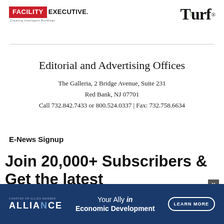[Figure (logo): Facility Executive logo with red box and tagline Creating Intelligent Buildings]
[Figure (logo): Turf magazine logo in bold serif font with green grass element]
Editorial and Advertising Offices
The Galleria, 2 Bridge Avenue, Suite 231
Red Bank, NJ 07701
Call 732.842.7433 or 800.524.0337 | Fax: 732.758.6634
E-News Signup
Join 20,000+ Subscribers & Get the latest from Premium Facilities...
[Figure (other): Advertisement banner for Alliance - Your Ally in Economic Development with Learn More button]